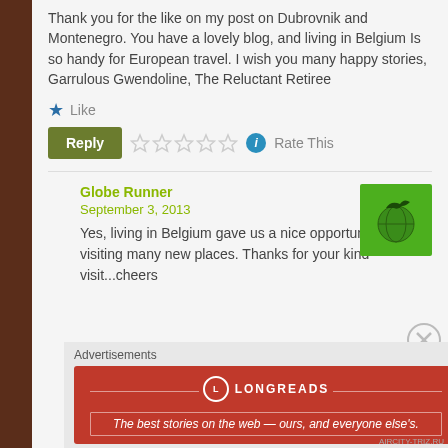Thank you for the like on my post on Dubrovnik and Montenegro. You have a lovely blog, and living in Belgium Is so handy for European travel. I wish you many happy stories, Garrulous Gwendoline, The Reluctant Retiree
Like
Reply  Rate This
Globe Runner
September 3, 2013
[Figure (logo): Green square avatar with globe runner logo - a globe with bird/runner silhouette]
Yes, living in Belgium gave us a nice opportunity of visiting many new places. Thanks for your kind visit...cheers
Advertisements
[Figure (infographic): Longreads advertisement banner - red background with logo and tagline: The best stories on the web - ours, and everyone else's.]